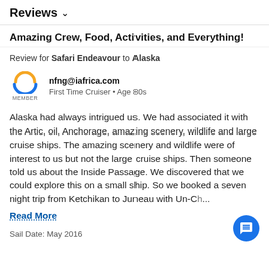Reviews ∨
Amazing Crew, Food, Activities, and Everything!
Review for Safari Endeavour to Alaska
[Figure (logo): Cruise critic member logo with orange and blue swoosh icon and MEMBER text below]
nfng@iafrica.com
First Time Cruiser • Age 80s
Alaska had always intrigued us. We had associated it with the Artic, oil, Anchorage, amazing scenery, wildlife and large cruise ships. The amazing scenery and wildlife were of interest to us but not the large cruise ships. Then someone told us about the Inside Passage. We discovered that we could explore this on a small ship. So we booked a seven night trip from Ketchikan to Juneau with Un-Ch...
Read More
Sail Date: May 2016